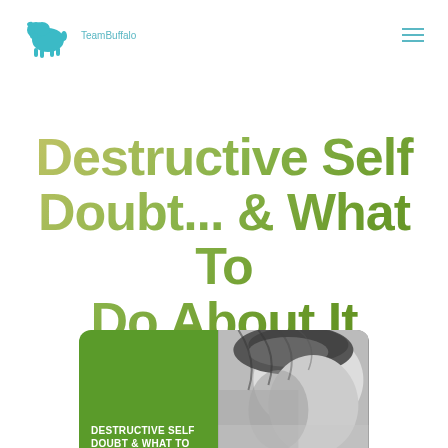TeamBuffalo (logo with bison icon)
Destructive Self Doubt... & What To Do About It
[Figure (photo): Book cover thumbnail showing green left panel with white text 'DESTRUCTIVE SELF DOUBT & WHAT TO' and right panel with black-and-white close-up photo of a person's head/hair]